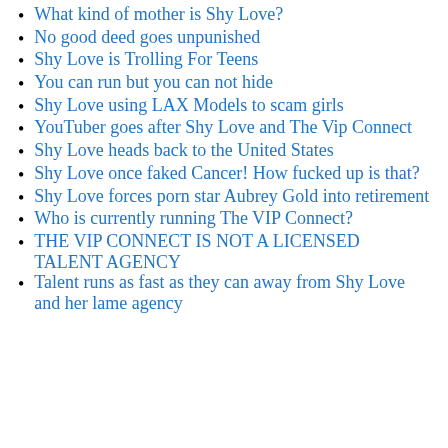What kind of mother is Shy Love?
No good deed goes unpunished
Shy Love is Trolling For Teens
You can run but you can not hide
Shy Love using LAX Models to scam girls
YouTuber goes after Shy Love and The Vip Connect
Shy Love heads back to the United States
Shy Love once faked Cancer! How fucked up is that?
Shy Love forces porn star Aubrey Gold into retirement
Who is currently running The VIP Connect?
THE VIP CONNECT IS NOT A LICENSED TALENT AGENCY
Talent runs as fast as they can away from Shy Love and her lame agency